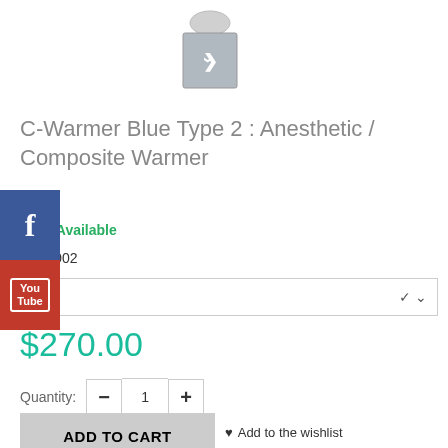[Figure (photo): Product thumbnail image of C-Warmer with a small checkmark-topped container icon and down chevron]
C-Warmer Blue Type 2 : Anesthetic / Composite Warmer
Availability: Available
AW-1902
0V
$270.00
Quantity: 1
ADD TO CART
Add to the wishlist